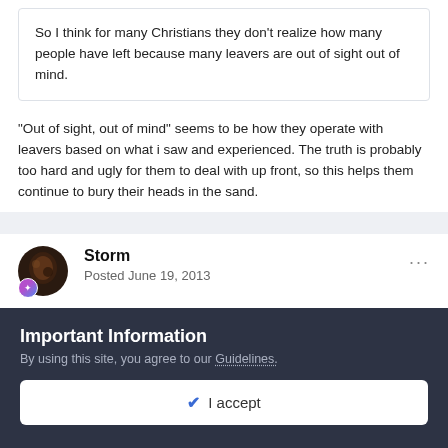So I think for many Christians they don't realize how many people have left because many leavers are out of sight out of mind.
"Out of sight, out of mind" seems to be how they operate with leavers based on what i saw and experienced. The truth is probably too hard and ugly for them to deal with up front, so this helps them continue to bury their heads in the sand.
Storm
Posted June 19, 2013
Important Information
By using this site, you agree to our Guidelines.
I accept